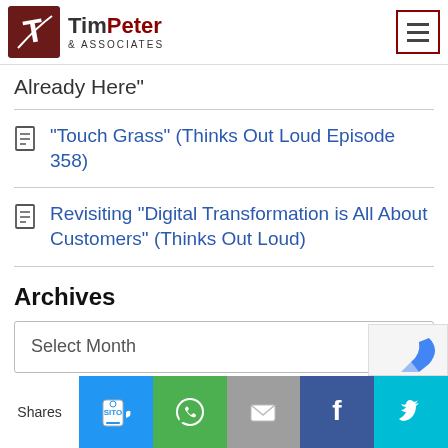[Figure (logo): Tim Peter & Associates logo with hamburger menu button]
Already Here"
"Touch Grass" (Thinks Out Loud Episode 358)
Revisiting "Digital Transformation is All About Customers" (Thinks Out Loud)
Archives
Select Month
Search the blog
[Figure (infographic): Social share bar with SMS, WhatsApp, Email, Facebook, Twitter buttons and Shares label]